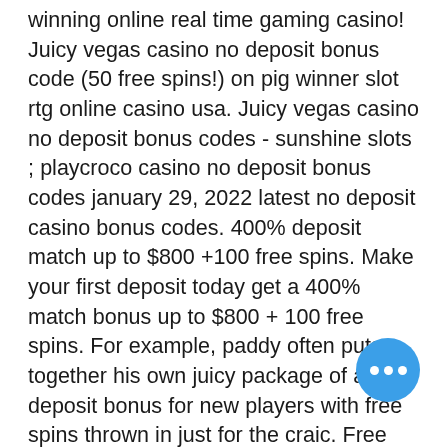winning online real time gaming casino! Juicy vegas casino no deposit bonus code (50 free spins!) on pig winner slot rtg online casino usa. Juicy vegas casino no deposit bonus codes - sunshine slots ; playcroco casino no deposit bonus codes january 29, 2022 latest no deposit casino bonus codes. 400% deposit match up to $800 +100 free spins. Make your first deposit today get a 400% match bonus up to $800 + 100 free spins. For example, paddy often puts together his own juicy package of a deposit bonus for new players with free spins thrown in just for the craic. Free casino bonuses for every day how to redeem the codes. They can grab the latest no deposit bonus codes 2022 at online canadian. Sign up at juicy vegas casino. Go to the 'cashier' section. From the 'coupons' tab, redeem the bonus code 'vegasgo'. Make your first deposit of $50 at the. Enjoy slingo games with foxy games. One of the best deposit sin slot to